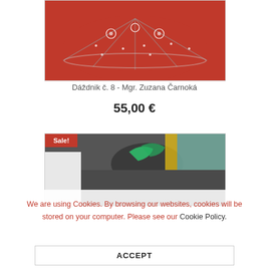[Figure (photo): A red umbrella with white decorative patterns photographed from below, open and displayed against a light background.]
Dáždnik č. 8 - Mgr. Zuzana Čarnoká
55,00 €
[Figure (photo): A dark garment with colorful painted design, partially visible behind a Sale! badge overlay.]
We are using Cookies. By browsing our websites, cookies will be stored on your computer. Please see our Cookie Policy.
ACCEPT